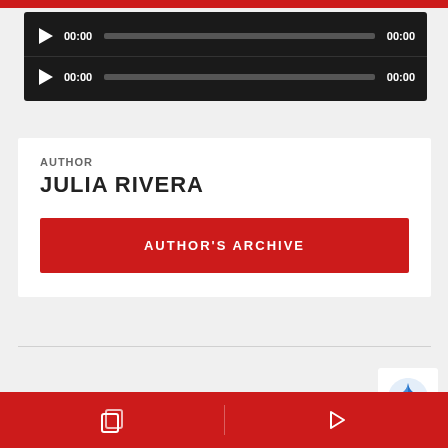[Figure (screenshot): Two audio player controls with dark background, play buttons, progress bars (00:00 timestamps on both sides)]
AUTHOR
JULIA RIVERA
AUTHOR'S ARCHIVE
[Figure (other): reCAPTCHA badge icon partially visible in bottom right corner]
[Figure (other): Bottom red navigation bar with copy/layers icon on left and play arrow icon on right, separated by a vertical divider]